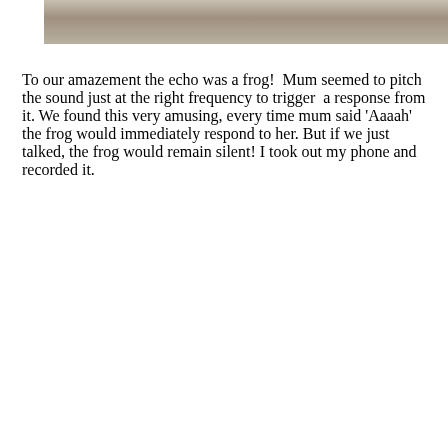[Figure (photo): Partial photo at top of page showing a person in a wheelchair on a gravel path]
To our amazement the echo was a frog!  Mum seemed to pitch the sound just at the right frequency to trigger  a response from it. We found this very amusing, every time mum said ‘Aaaah’ the frog would immediately respond to her. But if we just talked, the frog would remain silent! I took out my phone and recorded it.
[Figure (other): Audio player with play button, timestamp 00:00, progress bar, and end time 00:00 on dark background]
[Figure (photo): Photo of a garden or park with large tree trunks, lush green foliage, and a hedge wall on the right side]